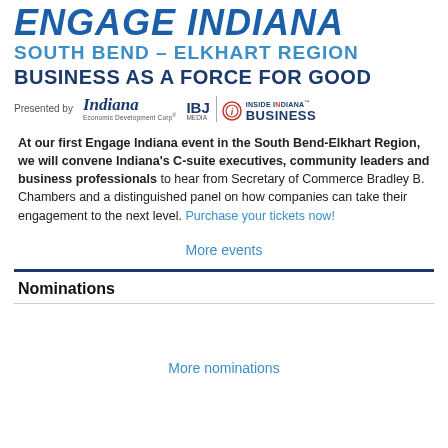[Figure (logo): Engage Indiana South Bend - Elkhart Region, Business as a Force for Good banner with Indiana Economic Development Corp, IBJ Media, and Inside Indiana Business logos]
At our first Engage Indiana event in the South Bend-Elkhart Region, we will convene Indiana's C-suite executives, community leaders and business professionals to hear from Secretary of Commerce Bradley B. Chambers and a distinguished panel on how companies can take their engagement to the next level. Purchase your tickets now!
More events
Nominations
More nominations